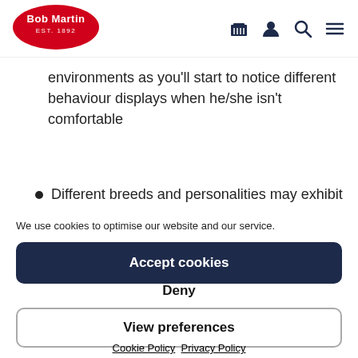[Figure (logo): Bob Martin EST. 1892 logo on red oval background]
environments as you'll start to notice different behaviour displays when he/she isn't comfortable
Different breeds and personalities may exhibit
We use cookies to optimise our website and our service.
Accept cookies
Deny
View preferences
Cookie Policy  Privacy Policy